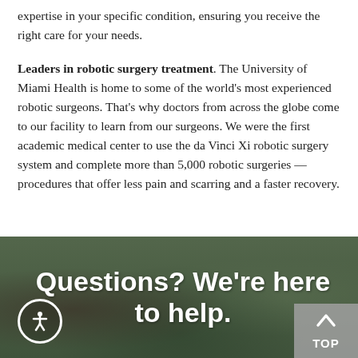expertise in your specific condition, ensuring you receive the right care for your needs.
Leaders in robotic surgery treatment. The University of Miami Health is home to some of the world's most experienced robotic surgeons. That's why doctors from across the globe come to our facility to learn from our surgeons. We were the first academic medical center to use the da Vinci Xi robotic surgery system and complete more than 5,000 robotic surgeries — procedures that offer less pain and scarring and a faster recovery.
[Figure (photo): Outdoor photo of a building/campus with trees and people walking, overlaid with large white bold text reading 'Questions? We're here to help.' An accessibility icon appears bottom-left and a 'TOP' button with upward arrow appears bottom-right.]